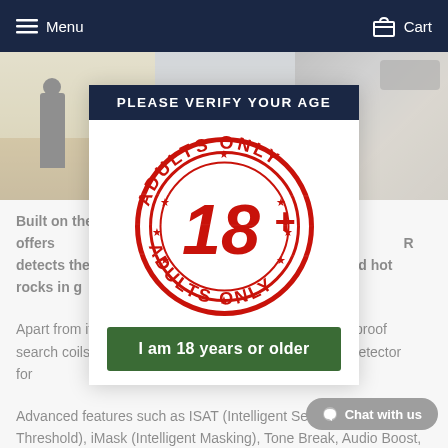Menu   Cart
[Figure (photo): Background images: person detecting in desert on left, metal detector device on right, with 56 kHz badge in center]
PLEASE VERIFY YOUR AGE
[Figure (illustration): Adults Only 18+ stamp seal in red, circular with text ADULTS ONLY around perimeter and 18+ in center]
I am 18 years or older
Built on the c... the Gold RACER offers ...bilities. Operating at 5... R detects the tiniest nugget ...onditions and hot rocks in g...
Apart from its ...ability, the waterproof search coils make the Gold RACER an excellent gold detector for ...o.
Advanced features such as ISAT (Intelligent Self-Adjusting Threshold), iMask (Intelligent Masking), Tone Break, Audio Boost, superior discrimination ability as well as the ergonomics make this detector the most versatile detector on